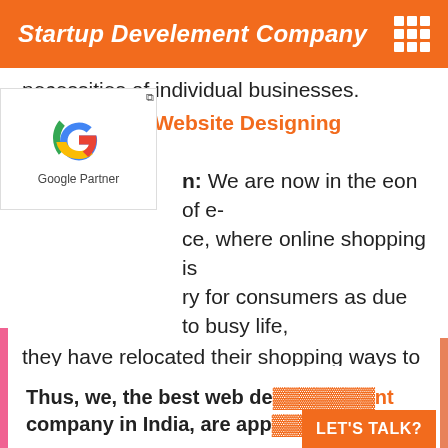Startup Develement Company
necessities of individual businesses.
E-commerce Website Designing Company
[Figure (logo): Google Partner badge with colorful G logo and 'Google Partner' text below]
Introduction: We are now in the eon of e-commerce, where online shopping is necessary for consumers as due to busy life, they have relocated their shopping ways to the digital platform.  Consequently, companies are also trying to put more energy into developing captivating and appealing ecommerce websites that drive renovations.
Thus, we, the best web development company in India, are appu...